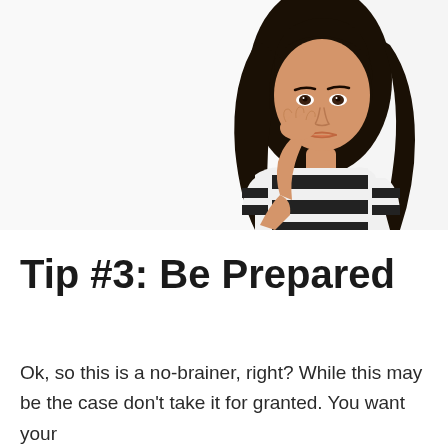[Figure (photo): Young Asian woman with long dark hair, wearing a black and white striped short-sleeve top, resting her chin/cheek on her hand in a thoughtful pose, against a white background.]
Tip #3: Be Prepared
Ok, so this is a no-brainer, right? While this may be the case don't take it for granted. You want your